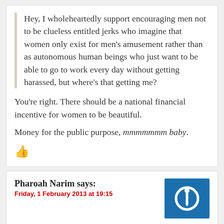Hey, I wholeheartedly support encouraging men not to be clueless entitled jerks who imagine that women only exist for men's amusement rather than as autonomous human beings who just want to be able to go to work every day without getting harassed, but where's that getting me?
You're right. There should be a national financial incentive for women to be beautiful.
Money for the public purpose, mmmmmmm baby.
👍
Pharoah Narim says:
Friday, 1 February 2013 at 19:15
Bottom line–an radom pencil pusher; probably as part of professional development credits you have to teach